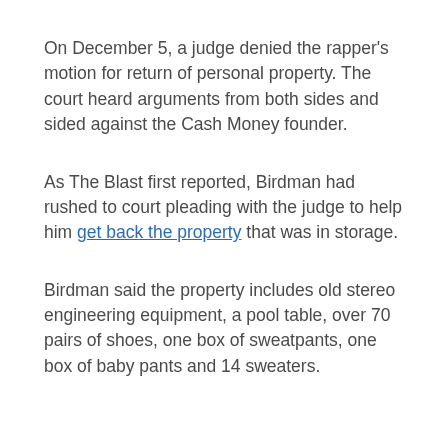On December 5, a judge denied the rapper’s motion for return of personal property. The court heard arguments from both sides and sided against the Cash Money founder.
As The Blast first reported, Birdman had rushed to court pleading with the judge to help him get back the property that was in storage.
Birdman said the property includes old stereo engineering equipment, a pool table, over 70 pairs of shoes, one box of sweatpants, one box of baby pants and 14 sweaters.